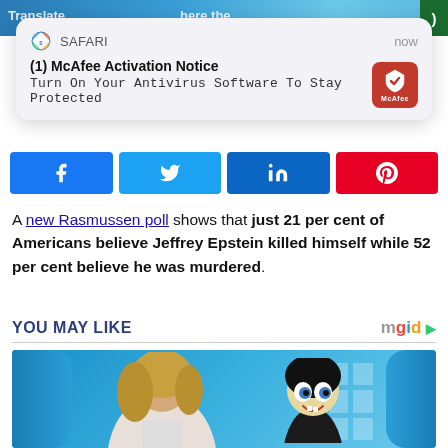[Figure (screenshot): Top of webpage showing blurred header with text 'Translate...' and 'here the']
[Figure (screenshot): Safari browser notification card showing McAfee Activation Notice: '(1) McAfee Activation Notice - Turn On Your Antivirus Software To Stay Protected' with McAfee red icon]
[Figure (infographic): Four social share buttons: Facebook (blue), Twitter (light blue), LinkedIn (dark blue), Pinterest (red)]
A new Rasmussen poll shows that just 21 per cent of Americans believe Jeffrey Epstein killed himself while 52 per cent believe he was murdered.
YOU MAY LIKE
[Figure (photo): Movie/show still image showing a woman with blonde hair and a creepy masked figure behind her against a blue curtain background]